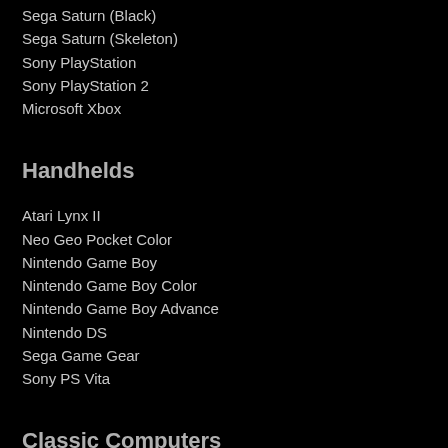Sega Saturn (Black)
Sega Saturn (Skeleton)
Sony PlayStation
Sony PlayStation 2
Microsoft Xbox
Handhelds
Atari Lynx II
Neo Geo Pocket Color
Nintendo Game Boy
Nintendo Game Boy Color
Nintendo Game Boy Advance
Nintendo DS
Sega Game Gear
Sony PS Vita
Classic Computers
Apple IIc
Apple IIGS
Atari 800XL